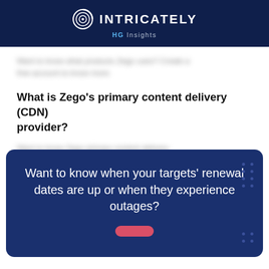INTRICATELY HG Insights
[blurred] Want to know what products Zego uses? Create a free account to know more.
What is Zego's primary content delivery (CDN) provider?
[blurred] Want to know Zego primary content delivery provider? Create a free account to know more.
[Figure (other): Partial chart preview with teal and pink/salmon colored segments visible at bottom of content area]
Want to know when your targets' renewal dates are up or when they experience outages?